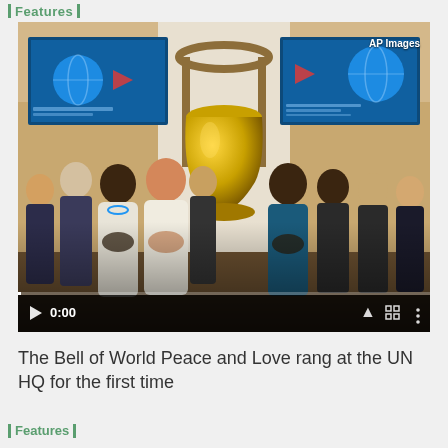| Features |
[Figure (photo): Video thumbnail showing a group of people standing around a large golden bell at the UN HQ, with hands on their chests. Two blue TV screens are visible in the background. Video controls show 0:00 timestamp. AP Images watermark in top right corner.]
The Bell of World Peace and Love rang at the UN HQ for the first time
| Features |